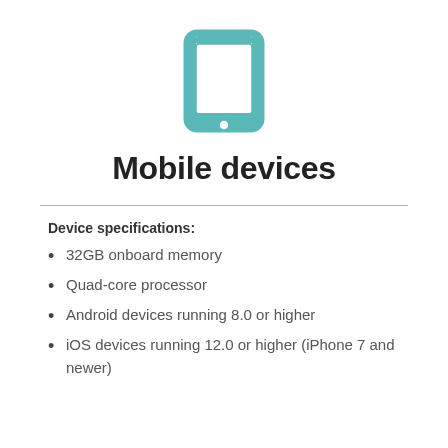[Figure (illustration): Teal/turquoise icon of a tablet device (iPad-like), outline style with rounded rectangle frame and home button circle at bottom center]
Mobile devices
Device specifications:
32GB onboard memory
Quad-core processor
Android devices running 8.0 or higher
iOS devices running 12.0 or higher (iPhone 7 and newer)